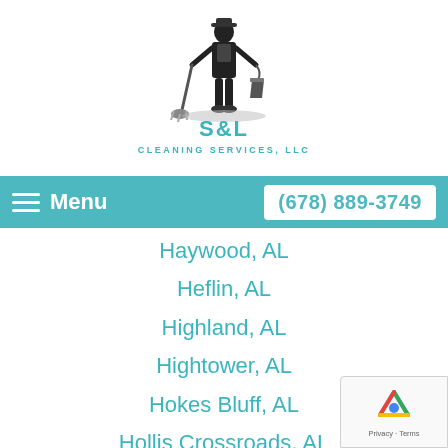[Figure (logo): S&L Cleaning Services LLC logo — janitor figure holding mop and bucket above teal text 'S&L Cleaning Services, LLC']
Menu  (678) 889-3749
Haywood, AL
Heflin, AL
Highland, AL
Hightower, AL
Hokes Bluff, AL
Hollis Crossroads, AL
Idaho, AL
Ivalee, AL
Jacksonville, AL